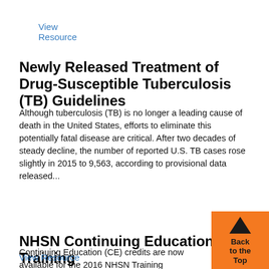View Resource
Newly Released Treatment of Drug-Susceptible Tuberculosis (TB) Guidelines
Although tuberculosis (TB) is no longer a leading cause of death in the United States, efforts to eliminate this potentially fatal disease are critical. After two decades of steady decline, the number of reported U.S. TB cases rose slightly in 2015 to 9,563, according to provisional data released...
View Resource
NHSN Continuing Education Training
Continuing Education (CE) credits are now available for the 2016 NHSN Training webstream videos!
View Resource